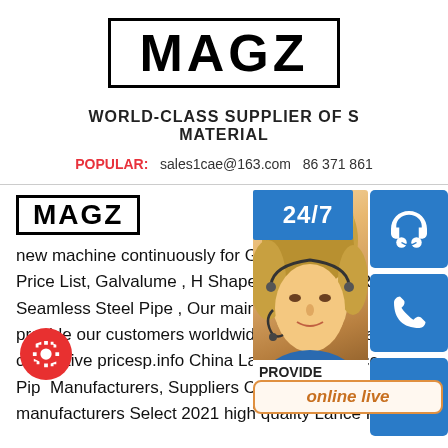[Figure (logo): MAGZ logo in bold black text inside a rectangular border box]
WORLD-CLASS SUPPLIER OF S... MATERIAL
POPULAR: sales1cae@163.com 86 371 861...
[Figure (logo): MAGZ logo small version in bold black text inside a rectangular border]
[Figure (photo): Customer service panel with woman wearing headset, 24/7 badge, contact icons (headset, phone, Skype), PROVIDE Empowering Cu... text, and online live button]
new machine continuously for Galva... Price List, Galvalume , H Shape Steel Beam, Round Seamless Steel Pipe , Our main objectives are to provide our customers worldwide with good quality, competitive pricesp.info China Lance Pipe, Lance Pipe Manufacturers, Suppliers China Lance Pipe manufacturers Select 2021 high quality Lance Pi...